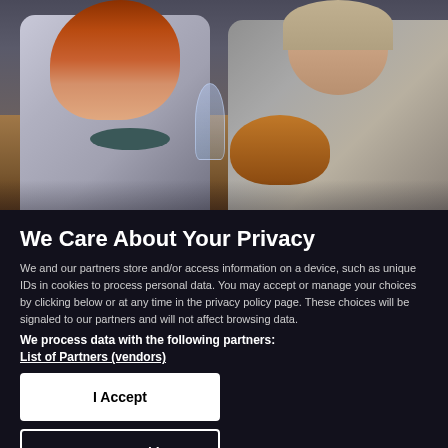[Figure (photo): Two women sitting at a dining table with bowls, plates, wine glasses, and a wooden salad bowl. Left woman has long red hair wearing a plaid shirt; right woman is wearing a gray blazer. Warm restaurant/home dining setting.]
We Care About Your Privacy
We and our partners store and/or access information on a device, such as unique IDs in cookies to process personal data. You may accept or manage your choices by clicking below or at any time in the privacy policy page. These choices will be signaled to our partners and will not affect browsing data.
We process data with the following partners:
List of Partners (vendors)
I Accept
Manage Cookies